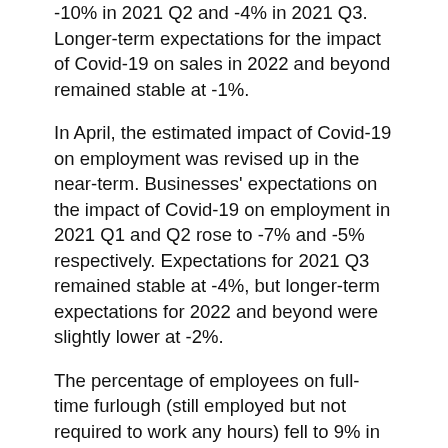-10% in 2021 Q2 and -4% in 2021 Q3. Longer-term expectations for the impact of Covid-19 on sales in 2022 and beyond remained stable at -1%.
In April, the estimated impact of Covid-19 on employment was revised up in the near-term. Businesses' expectations on the impact of Covid-19 on employment in 2021 Q1 and Q2 rose to -7% and -5% respectively. Expectations for 2021 Q3 remained stable at -4%, but longer-term expectations for 2022 and beyond were slightly lower at -2%.
The percentage of employees on full-time furlough (still employed but not required to work any hours) fell to 9% in April, from 14% in March. The percentage of workers on premises was expected to rise to 65% in June and 76% in 2021 Q3, the highest level since the beginning of the pandemic.
In April, investment expectations for both 2021 Q1 and